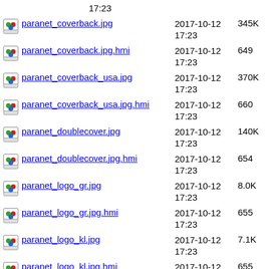17:23 (truncated top)
paranet_coverback.jpg  2017-10-12 17:23  345K
paranet_coverback.jpg.hmi  2017-10-12 17:23  649
paranet_coverback_usa.jpg  2017-10-12 17:23  370K
paranet_coverback_usa.jpg.hmi  2017-10-12 17:23  660
paranet_doublecover.jpg  2017-10-12 17:23  140K
paranet_doublecover.jpg.hmi  2017-10-12 17:23  654
paranet_logo_gr.jpg  2017-10-12 17:23  8.0K
paranet_logo_gr.jpg.hmi  2017-10-12 17:23  655
paranet_logo_kl.jpg  2017-10-12 17:23  7.1K
paranet_logo_kl.jpg.hmi  2017-10-12 17:23  655
parashield_cover.jpg  2017-10-12 17:23  31K